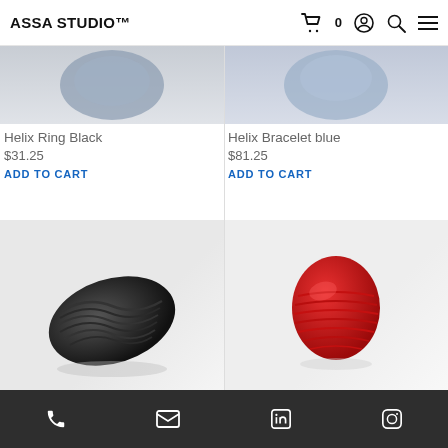ASSA STUDIO™
[Figure (photo): Partial view of a blue/grey helix bracelet product image at top left]
[Figure (photo): Partial view of a blue/grey helix product image at top right]
Helix Ring Black
$31.25
ADD TO CART
Helix Bracelet blue
$81.25
ADD TO CART
[Figure (photo): Black helix ring/bracelet on light background]
[Figure (photo): Red helix ring on light background]
Helix Bracelet black
$81.25
ADD TO CART
Helix Ring red
$31.25
ADD TO CART
Phone | Email | LinkedIn | Instagram